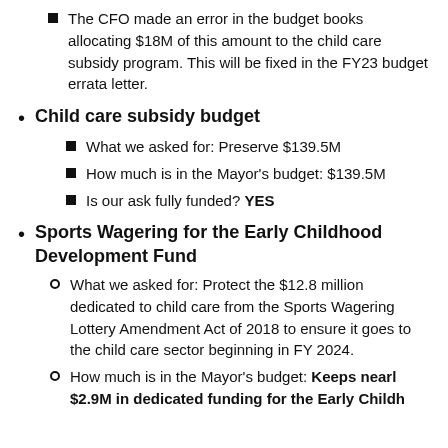The CFO made an error in the budget books allocating $18M of this amount to the child care subsidy program. This will be fixed in the FY23 budget errata letter.
Child care subsidy budget
What we asked for: Preserve $139.5M
How much is in the Mayor's budget: $139.5M
Is our ask fully funded? YES
Sports Wagering for the Early Childhood Development Fund
What we asked for: Protect the $12.8 million dedicated to child care from the Sports Wagering Lottery Amendment Act of 2018 to ensure it goes to the child care sector beginning in FY 2024.
How much is in the Mayor's budget: Keeps nearly $2.9M in dedicated funding for the Early Childhood Development Fund to child care in FY24 and future...